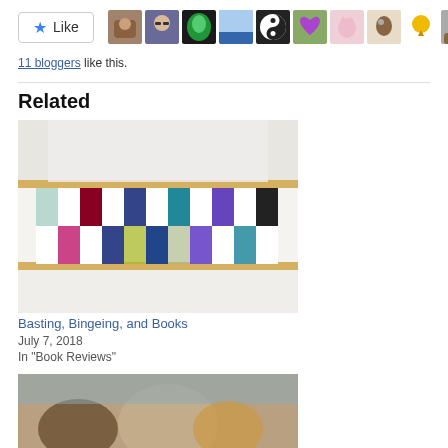[Figure (other): Like button with star icon and row of 11 blogger avatar thumbnails]
11 bloggers like this.
Related
[Figure (photo): Photo of a quilt in progress on a quilting frame, showing a checkerboard pattern in blues, purples, teals, and whites]
Basting, Bingeing, and Books
July 7, 2018
In "Book Reviews"
[Figure (photo): Partial photo at bottom of page, cropped, showing a scene with people or objects]